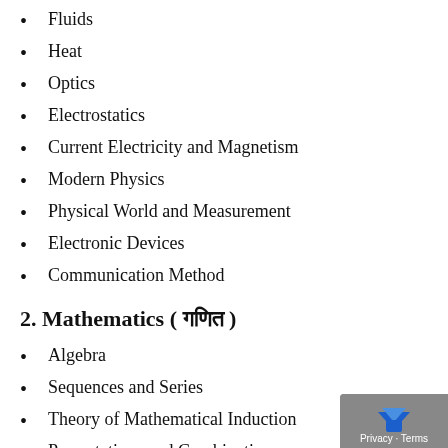Fluids
Heat
Optics
Electrostatics
Current Electricity and Magnetism
Modern Physics
Physical World and Measurement
Electronic Devices
Communication Method
2. Mathematics ( गणित )
Algebra
Sequences and Series
Theory of Mathematical Induction
Permutations and Combinations
Binomial Theorems